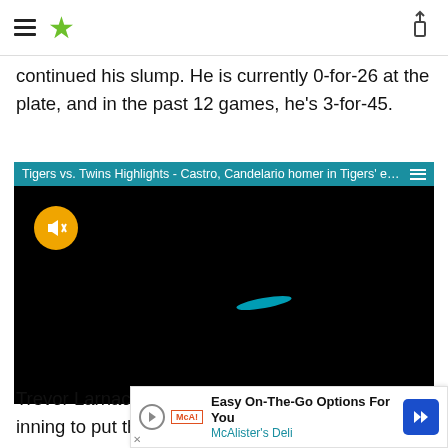Navigation bar with hamburger menu, star logo, and share icon
continued his slump. He is currently 0-for-26 at the plate, and in the past 12 games, he's 3-for-45.
[Figure (screenshot): Video player showing Tigers vs. Twins Highlights - Castro, Candelario homer in Tigers' ex... with a dark/black video screen, a yellow muted speaker button in the top left, and a small cyan baseball-like object in the center of the screen.]
Trevor Larnach hit a two-run homer in the fourth inning to put the Twins al wins starter D s until